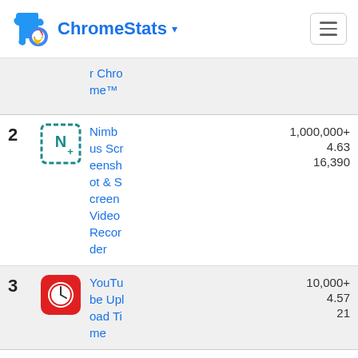ChromeStats
2 Nimbus Screenshot & Screen Video Recorder 1,000,000+ 4.63 16,390
3 YouTube Upload Time 10,000+ 4.57 21